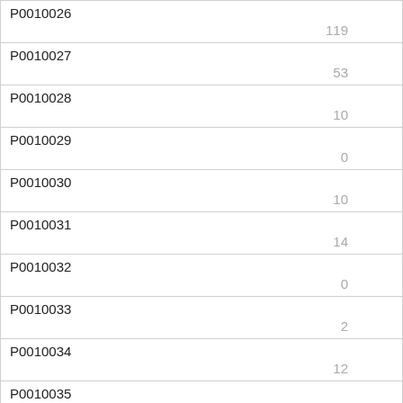| ID | Value |
| --- | --- |
| P0010026 | 119 |
| P0010027 | 53 |
| P0010028 | 10 |
| P0010029 | 0 |
| P0010030 | 10 |
| P0010031 | 14 |
| P0010032 | 0 |
| P0010033 | 2 |
| P0010034 | 12 |
| P0010035 | 12 |